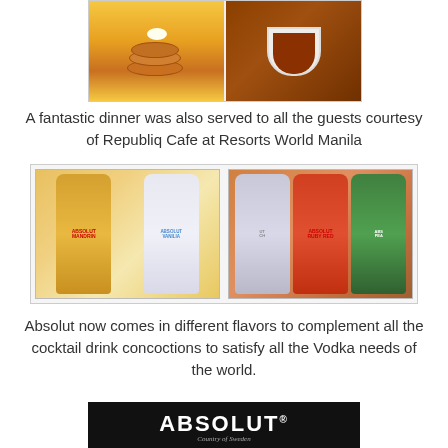[Figure (photo): Food photos showing pancakes with butter on a plate with syrup on the left, and a baked dish in a white ramekin on the right]
A fantastic dinner was also served to all the guests courtesy of Republiq Cafe at Resorts World Manila
[Figure (photo): Two side-by-side photos of Absolut vodka bottles in various flavors. Left photo shows Absolut Mandrin and Absolut Vanilia bottles. Right photo shows Absolut Ruby Red and Absolut Pear bottles among others.]
Absolut now comes in different flavors to complement all the cocktail drink concoctions to satisfy all the Vodka needs of the world.
[Figure (photo): Absolut Country of Sweden logo on black background with white bold text reading ABSOLUT with registered trademark symbol and cursive Country of Sweden text below]